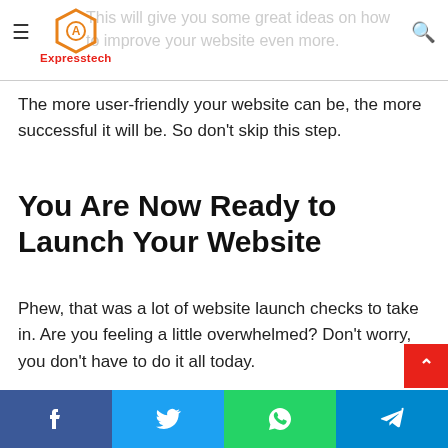Expresstech — logo and navigation header
This will give you some great ideas on how to improve your website even more.
The more user-friendly your website can be, the more successful it will be. So don't skip this step.
You Are Now Ready to Launch Your Website
Phew, that was a lot of website launch checks to take in. Are you feeling a little overwhelmed? Don't worry, you don't have to do it all today.
A website launch shouldn't be rushed into and
Social share bar: Facebook, Twitter, WhatsApp, Telegram